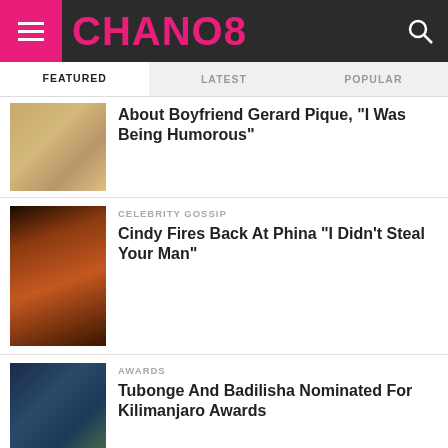CHANO8
FEATURED | LATEST | POPULAR
Shakira Clears Up 'Antisocial' Comment About Boyfriend Gerard Pique, "I Was Being Humorous"
CELEBRITY GOSSIP — Cindy Fires Back At Phina "I Didn't Steal Your Man"
AWARDS — Tubonge And Badilisha Nominated For Kilimanjaro Awards
CELEBRITY GOSSIP — Steven Seagal Praises Putin, Slams America's 'Idiotic' Ukraine Policy